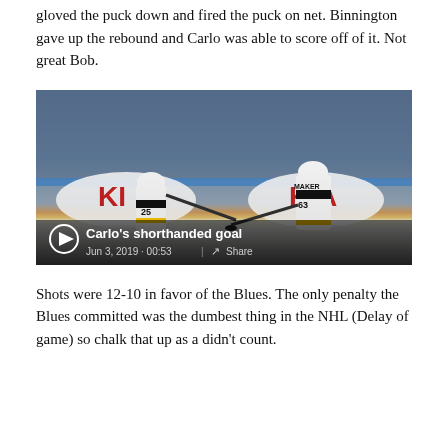gloved the puck down and fired the puck on net. Binnington gave up the rebound and Carlo was able to score off of it. Not great Bob.
[Figure (screenshot): Hockey photo showing two Boston Bruins players on ice near the boards with KIA advertising. Player #25 and player #63 (MAKER) are visible. Video overlay shows title 'Carlo's shorthanded goal', date 'Jun 3, 2019 · 00:53' and a Share button.]
Shots were 12-10 in favor of the Blues. The only penalty the Blues committed was the dumbest thing in the NHL (Delay of game) so chalk that up as a didn't count.